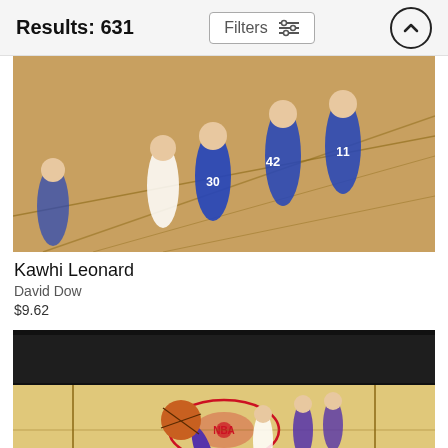Results: 631
[Figure (photo): Basketball game photo showing players in blue uniforms on an indoor hardwood court, aerial/sideline view with players grouped together]
Kawhi Leonard
David Dow
$9.62
[Figure (photo): Wide-angle NBA basketball court photo showing LeBron James reaching up with a basketball in foreground, other players visible on court with NBA logo at center court]